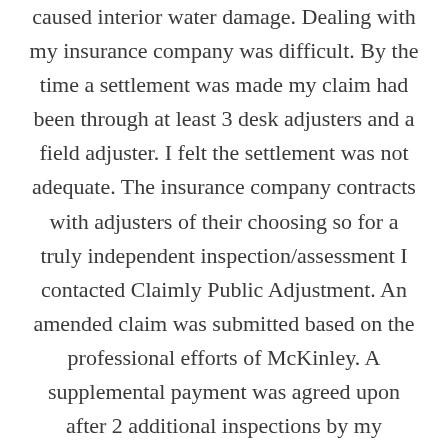caused interior water damage. Dealing with my insurance company was difficult. By the time a settlement was made my claim had been through at least 3 desk adjusters and a field adjuster. I felt the settlement was not adequate. The insurance company contracts with adjusters of their choosing so for a truly independent inspection/assessment I contacted Claimly Public Adjustment. An amended claim was submitted based on the professional efforts of McKinley. A supplemental payment was agreed upon after 2 additional inspections by my insurance company. You need someone who really knows this industry to guide you in protecting your interests in a